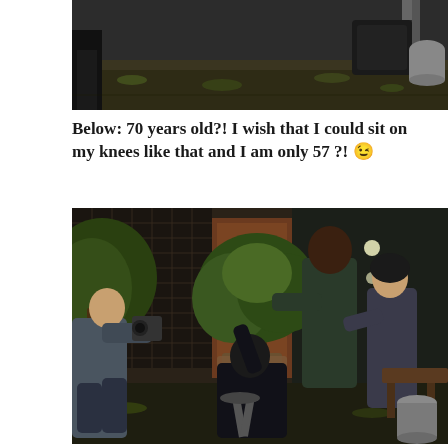[Figure (photo): Top portion of an outdoor nighttime scene showing ground with sparse grass and some equipment/bags in background]
Below: 70 years old?! I wish that I could sit on my knees like that and I am only 57 ?! 😉
[Figure (photo): Indoor/outdoor nighttime scene with people working around a bonsai tree. A man on the left crouches with a camera. A tall man in dark clothing stands behind the bonsai. A person in black kneels in front of the bonsai working on it. A woman stands to the right gesturing. Japanese-style architecture in background with glass panels.]